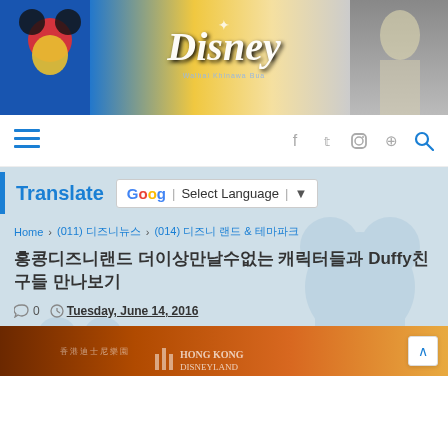[Figure (photo): Disney website header banner with Mickey Mouse sorcerer on left, Disney logo in center, and a white-haired character on right]
Navigation bar with hamburger menu icon and social media icons: Facebook, Twitter, Instagram, Pinterest, Search
Translate  Select Language
Home › (011) 디즈니뉴스 › (014) 디즈니 랜드 & 테마파크
홍콩디즈니랜드 더이상만날수없는 캐릭터들과 Duffy친구들 만나보기
0  Tuesday, June 14, 2016
[Figure (photo): Orange/amber colored bottom strip showing Hong Kong Disneyland advertisement partial view]